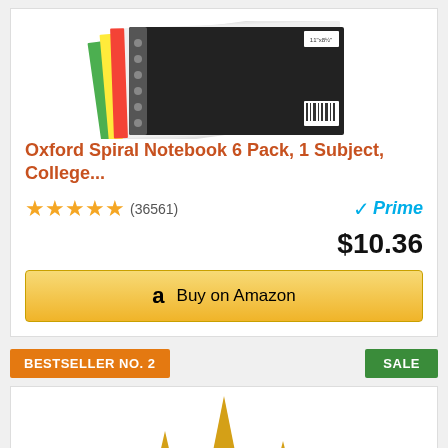[Figure (photo): Oxford Spiral Notebooks fanned out showing colorful spines and black cover]
Oxford Spiral Notebook 6 Pack, 1 Subject, College...
★★★★★ (36561)
Prime
$10.36
Buy on Amazon
BESTSELLER NO. 2
SALE
[Figure (photo): Disney Princess castle toy with gold spires, white towers, and colorful decorations]